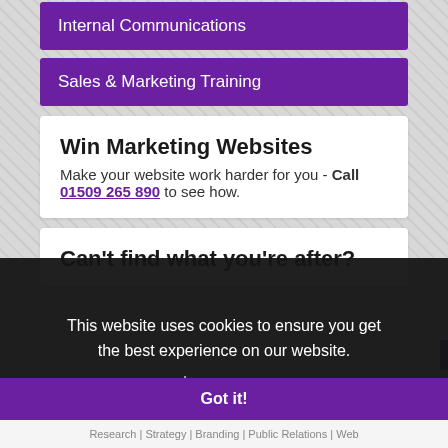Internal Communications
Sales & Marketing Training
Win Marketing Websites
Make your website work harder for you - Call 01509 265 890 to see how.
Can't find what you're after?
This website uses cookies to ensure you get the best experience on our website. Learn more
Got it!
Research | Strategy | Branding | Public Relations | Web